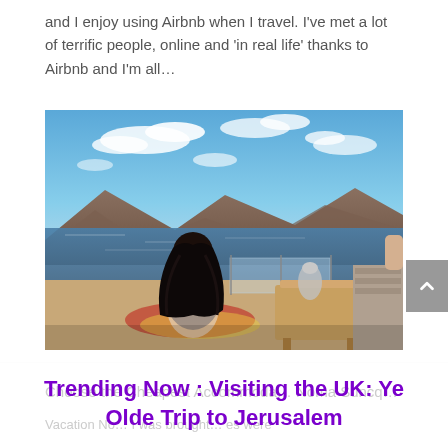and I enjoy using Airbnb when I travel. I've met a lot of terrific people, online and 'in real life' thanks to Airbnb and I'm all…
[Figure (photo): A woman with long dark hair sitting cross-legged facing away from camera, looking out over a body of water with mountains in the background under a blue sky with clouds. A wooden table with items on it is visible to the right.]
Trending Now : Visiting the UK: Ye Olde Trip to Jerusalem